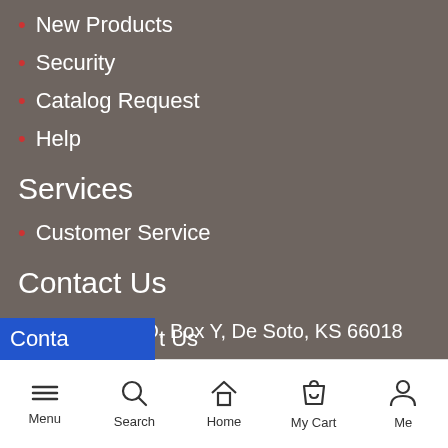New Products
Security
Catalog Request
Help
Services
Customer Service
Contact Us
Write: P. O. Box Y, De Soto, KS 66018
800-646-7736
info@caprinesupply.com
Contact Us
Menu  Search  Home  My Cart  Me